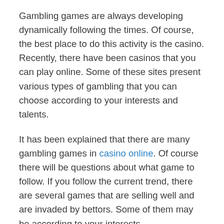Gambling games are always developing dynamically following the times. Of course, the best place to do this activity is the casino. Recently, there have been casinos that you can play online. Some of these sites present various types of gambling that you can choose according to your interests and talents.
It has been explained that there are many gambling games in casino online. Of course there will be questions about what game to follow. If you follow the current trend, there are several games that are selling well and are invaded by bettors. Some of them may be according to your interests.
As a reliable bettor, choosing the type of game is one of the keys to victory. Of course you also have to know in advance about some of the games that are on the casino site today. But there are also several types of games that